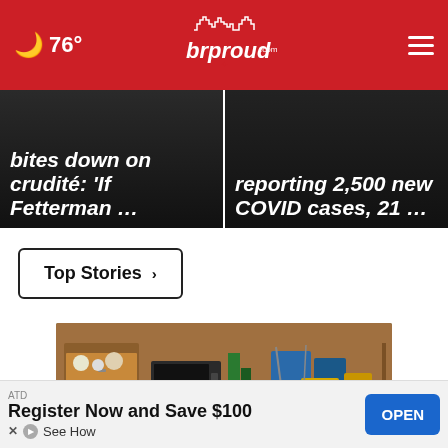76° brproud.com
[Figure (screenshot): Partial news headline: 'bites down on crudité: If Fetterman ...' on dark background]
[Figure (screenshot): Partial news headline: 'reporting 2,500 new COVID cases, 21 ...' on dark background]
Top Stories ›
[Figure (photo): Cluttered garage/storage space with old electronics, tires, tools, sports equipment, and various household items on shelves]
ATD
Register Now and Save $100
See How